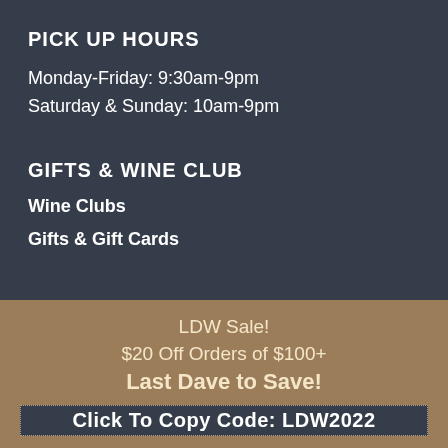PICK UP HOURS
Monday-Friday: 9:30am-9pm
Saturday & Sunday: 10am-9pm
GIFTS & WINE CLUB
Wine Clubs
Gifts & Gift Cards
LDW Sale!
$20 Off Orders of $100+
Last Dave to Save!
Click To Copy Code: LDW2022